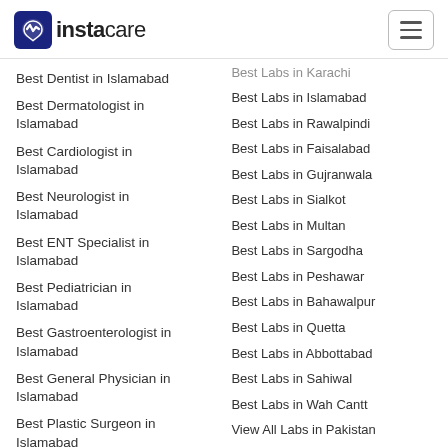instacare
Best Dentist in Islamabad
Best Dermatologist in Islamabad
Best Cardiologist in Islamabad
Best Neurologist in Islamabad
Best ENT Specialist in Islamabad
Best Pediatrician in Islamabad
Best Gastroenterologist in Islamabad
Best General Physician in Islamabad
Best Plastic Surgeon in Islamabad
Best Labs in Karachi
Best Labs in Islamabad
Best Labs in Rawalpindi
Best Labs in Faisalabad
Best Labs in Gujranwala
Best Labs in Sialkot
Best Labs in Multan
Best Labs in Sargodha
Best Labs in Peshawar
Best Labs in Bahawalpur
Best Labs in Quetta
Best Labs in Abbottabad
Best Labs in Sahiwal
Best Labs in Wah Cantt
View All Labs in Pakistan